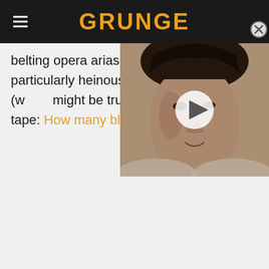GRUNGE
belting opera arias while jump-kicking a particularly heinous offensive maneuver (which might be true). So, let's look at the tape: How many black belts do
[Figure (photo): Video thumbnail overlay showing a woman with short dark hair, with a play button icon in the center. A close/X button is in the top right corner.]